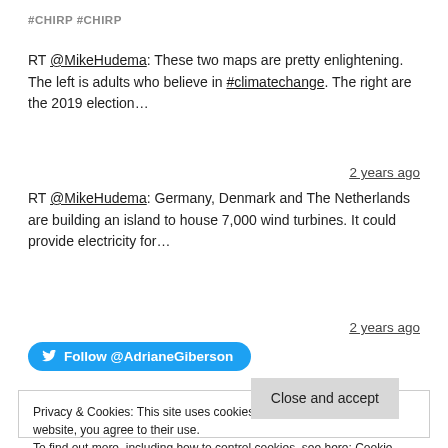#CHIRP #CHIRP
RT @MikeHudema: These two maps are pretty enlightening. The left is adults who believe in #climatechange. The right are the 2019 election…
2 years ago
RT @MikeHudema: Germany, Denmark and The Netherlands are building an island to house 7,000 wind turbines. It could provide electricity for…
2 years ago
Follow @AdrianeGiberson
Privacy & Cookies: This site uses cookies. By continuing to use this website, you agree to their use.
To find out more, including how to control cookies, see here: Cookie Policy
Close and accept